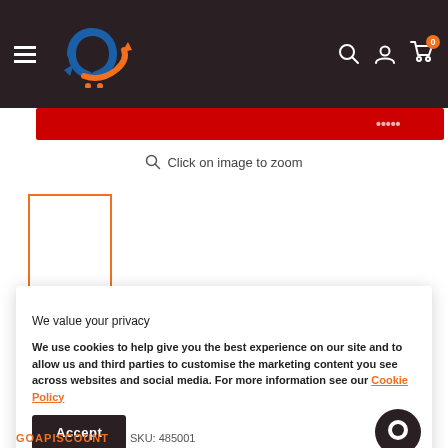[Figure (screenshot): E-commerce website header with dark brown background, logo (blue and orange circular arrow design), hamburger menu, search icon, user icon, and cart icon with badge showing 0]
[Figure (screenshot): Red banner strip partially visible]
Click on image to zoom
[Figure (screenshot): Thumbnail image box with orange border, white interior]
We value your privacy
We use cookies to help give you the best experience on our site and to allow us and third parties to customise the marketing content you see across websites and social media. For more information see our Cookie Policy
Accept
GOAPISCOUNT  SKU: 485001